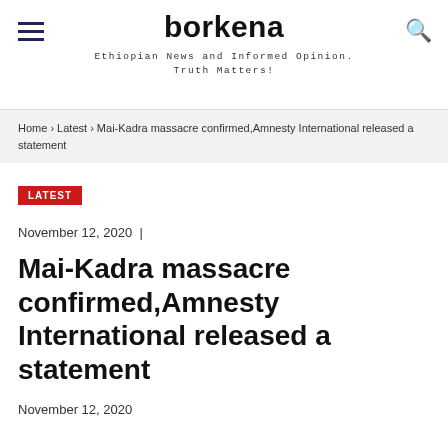borkena — Ethiopian News and Informed Opinion. Truth Matters!
Home › Latest › Mai-Kadra massacre confirmed,Amnesty International released a statement
LATEST
November 12, 2020  |
Mai-Kadra massacre confirmed,Amnesty International released a statement
November 12, 2020